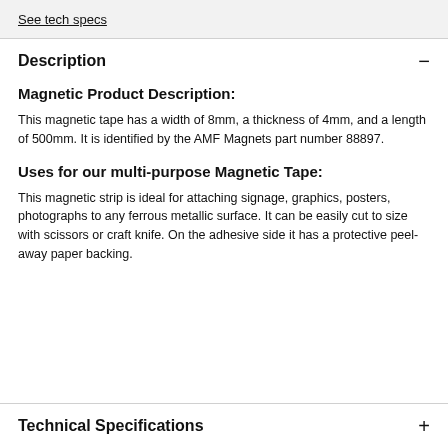See tech specs
Description
Magnetic Product Description:
This magnetic tape has a width of 8mm, a thickness of 4mm, and a length of 500mm. It is identified by the AMF Magnets part number 88897.
Uses for our multi-purpose Magnetic Tape:
This magnetic strip is ideal for attaching signage, graphics, posters, photographs to any ferrous metallic surface. It can be easily cut to size with scissors or craft knife. On the adhesive side it has a protective peel-away paper backing.
Technical Specifications